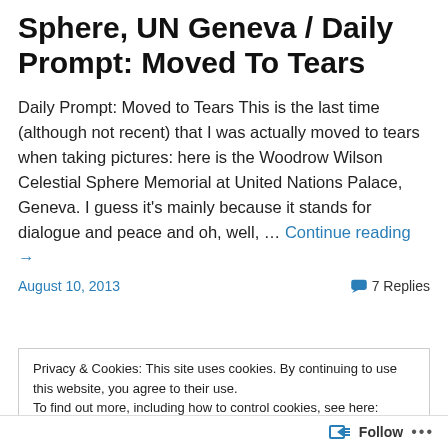Sphere, UN Geneva / Daily Prompt: Moved To Tears
Daily Prompt: Moved to Tears This is the last time (although not recent) that I was actually moved to tears when taking pictures: here is the Woodrow Wilson Celestial Sphere Memorial at United Nations Palace, Geneva. I guess it's mainly because it stands for dialogue and peace and oh, well, … Continue reading →
August 10, 2013    7 Replies
Privacy & Cookies: This site uses cookies. By continuing to use this website, you agree to their use.
To find out more, including how to control cookies, see here: Cookie Policy
Close and accept
Follow ...